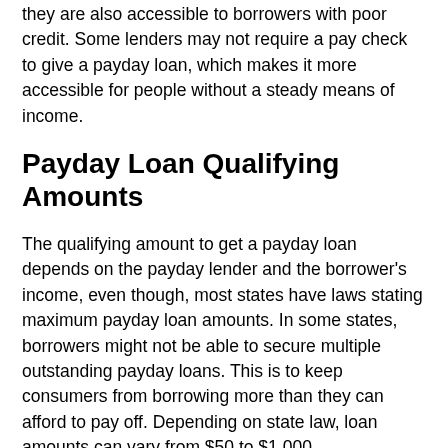they are also accessible to borrowers with poor credit. Some lenders may not require a pay check to give a payday loan, which makes it more accessible for people without a steady means of income.
Payday Loan Qualifying Amounts
The qualifying amount to get a payday loan depends on the payday lender and the borrower's income, even though, most states have laws stating maximum payday loan amounts. In some states, borrowers might not be able to secure multiple outstanding payday loans. This is to keep consumers from borrowing more than they can afford to pay off. Depending on state law, loan amounts can vary from $50 to $1,000.